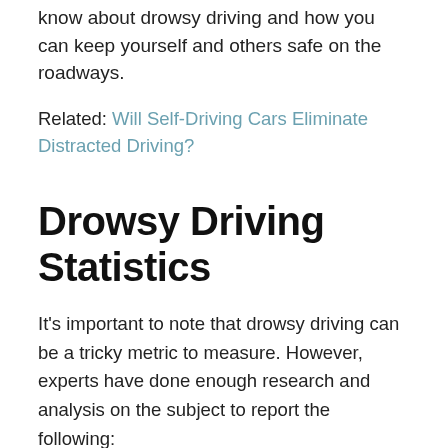know about drowsy driving and how you can keep yourself and others safe on the roadways.
Related: Will Self-Driving Cars Eliminate Distracted Driving?
Drowsy Driving Statistics
It's important to note that drowsy driving can be a tricky metric to measure. However, experts have done enough research and analysis on the subject to report the following:
In 2017, the National Highway Traffic Safety Administration (NHTSA) gauged that drowsy